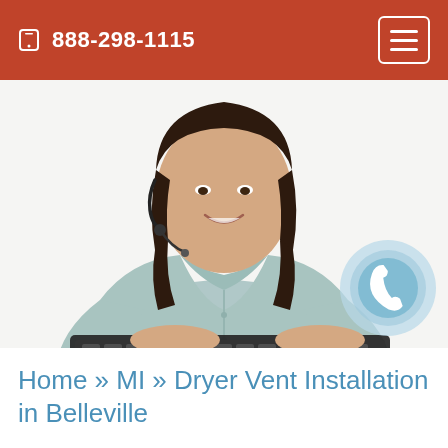888-298-1115
[Figure (photo): Woman with headset typing on a keyboard, wearing a light blue shirt, smiling, white background, customer service representative]
[Figure (illustration): Light blue circular phone callback icon overlay in bottom-right of hero image]
Home » MI » Dryer Vent Installation in Belleville